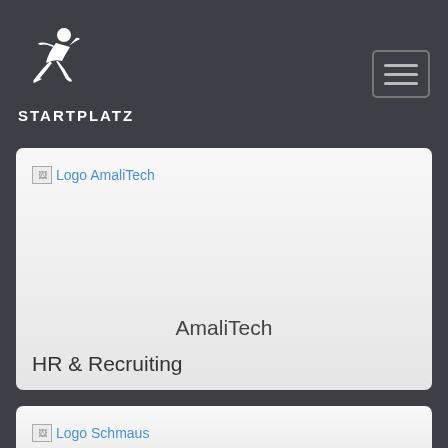[Figure (logo): Startplatz logo with running figure icon and brand name text]
[Figure (screenshot): Card showing broken image placeholder 'Logo AmaliTech', company name 'AmaliTech', category 'HR & Recruiting']
[Figure (screenshot): Card showing broken image placeholder 'Logo Schmaus']